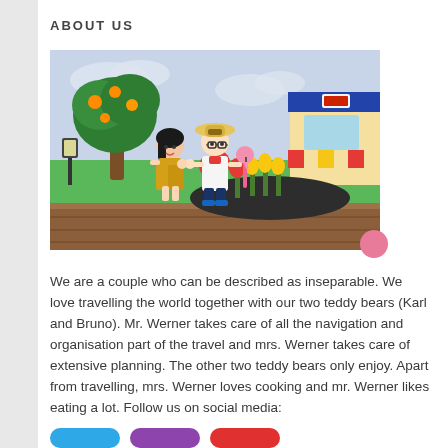ABOUT US
[Figure (screenshot): Animal Crossing video game screenshot showing two player characters standing together on a wooden dock. One character wearing a yellow/gold outfit with black hair, another wearing a white coat and straw hat with glasses. Background features green trees with orange fruit, colorful tulips (red and yellow), a pink flamingo, and a shop building with blue roof and red/yellow striped awning.]
We are a couple who can be described as inseparable. We love travelling the world together with our two teddy bears (Karl and Bruno). Mr. Werner takes care of all the navigation and organisation part of the travel and mrs. Werner takes care of extensive planning. The other two teddy bears only enjoy. Apart from travelling, mrs. Werner loves cooking and mr. Werner likes eating a lot. Follow us on social media: